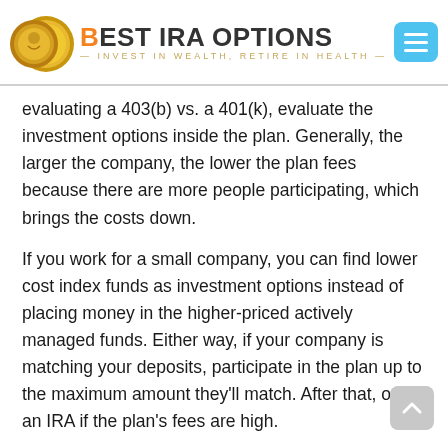[Figure (logo): Best IRA Options logo with gold coins image and tagline 'INVEST IN WEALTH, RETIRE IN HEALTH']
evaluating a 403(b) vs. a 401(k), evaluate the investment options inside the plan. Generally, the larger the company, the lower the plan fees because there are more people participating, which brings the costs down.
If you work for a small company, you can find lower cost index funds as investment options instead of placing money in the higher-priced actively managed funds. Either way, if your company is matching your deposits, participate in the plan up to the maximum amount they'll match. After that, open an IRA if the plan's fees are high.
Go Back to Retirement Plans (Main Page)